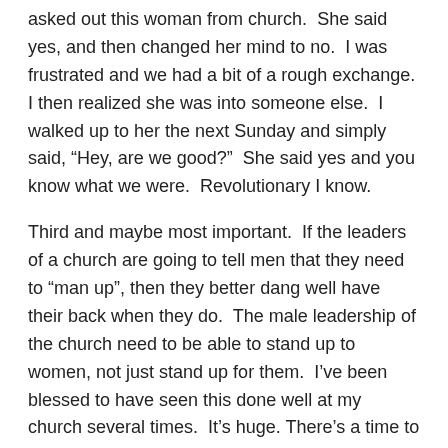asked out this woman from church.  She said yes, and then changed her mind to no.  I was frustrated and we had a bit of a rough exchange. I then realized she was into someone else.  I walked up to her the next Sunday and simply said, “Hey, are we good?”  She said yes and you know what we were.  Revolutionary I know.
Third and maybe most important.  If the leaders of a church are going to tell men that they need to “man up”, then they better dang well have their back when they do.  The male leadership of the church need to be able to stand up to women, not just stand up for them.  I’ve been blessed to have seen this done well at my church several times.  It’s huge. There’s a time to call out both the creeper and the player, but there is also time to stand up for the guy and tell the woman to let it go.